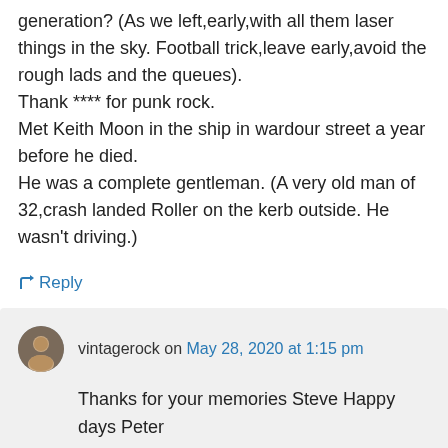generation? (As we left,early,with all them laser things in the sky. Football trick,leave early,avoid the rough lads and the queues).
Thank **** for punk rock.
Met Keith Moon in the ship in wardour street a year before he died.
He was a complete gentleman. (A very old man of 32,crash landed Roller on the kerb outside. He wasn't driving.)
↳ Reply
vintagerock on May 28, 2020 at 1:15 pm
Thanks for your memories Steve Happy days Peter